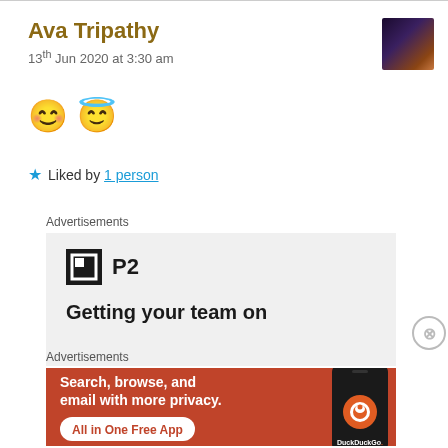Ava Tripathy
13th Jun 2020 at 3:30 am
😊 😇
★ Liked by 1 person
Advertisements
[Figure (other): P2 advertisement with logo and headline 'Getting your team on']
Advertisements
[Figure (other): DuckDuckGo advertisement: Search, browse, and email with more privacy. All in One Free App. Shows phone with DuckDuckGo logo.]